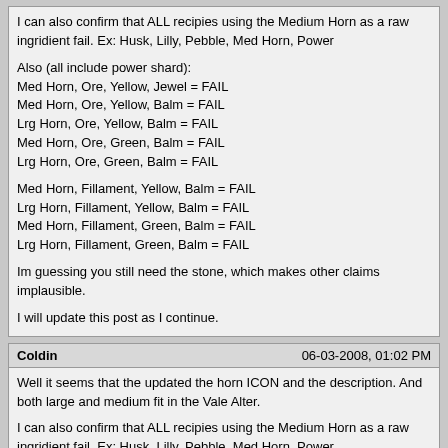I can also confirm that ALL recipies using the Medium Horn as a raw ingridient fail. Ex: Husk, Lilly, Pebble, Med Horn, Power

Also (all include power shard):
Med Horn, Ore, Yellow, Jewel = FAIL
Med Horn, Ore, Yellow, Balm = FAIL
Lrg Horn, Ore, Yellow, Balm = FAIL
Med Horn, Ore, Green, Balm = FAIL
Lrg Horn, Ore, Green, Balm = FAIL

Med Horn, Fillament, Yellow, Balm = FAIL
Lrg Horn, Fillament, Yellow, Balm = FAIL
Med Horn, Fillament, Green, Balm = FAIL
Lrg Horn, Fillament, Green, Balm = FAIL

Im guessing you still need the stone, which makes other claims implausible.

I will update this post as I continue.
Coldin | 06-03-2008, 01:02 PM
Well it seems that the updated the horn ICON and the description. And both large and medium fit in the Vale Alter.

I can also confirm that ALL recipies using the Medium Horn as a raw ingridient fail. Ex: Husk, Lilly, Pebble, Med Horn, Power

I will update this post as I continue.

I wonder if medium horns will make some of the basic monk weapons, while Large Horns will make the debatably overpowered weapons like Axes and Rapiers.
Inkblack | 06-03-2008, 01:28 PM